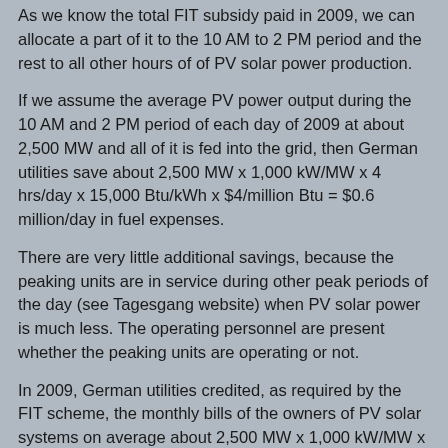As we know the total FIT subsidy paid in 2009, we can allocate a part of it to the 10 AM to 2 PM period and the rest to all other hours of of PV solar power production.
If we assume the average PV power output during the 10 AM and 2 PM period of each day of 2009 at about 2,500 MW and all of it is fed into the grid, then German utilities save about 2,500 MW x 1,000 kW/MW x 4 hrs/day x 15,000 Btu/kWh x $4/million Btu = $0.6 million/day in fuel expenses.
There are very little additional savings, because the peaking units are in service during other peak periods of the day (see Tagesgang website) when PV solar power is much less. The operating personnel are present whether the peaking units are operating or not.
In 2009, German utilities credited, as required by the FIT scheme, the monthly bills of the owners of PV solar systems on average about 2,500 MW x 1,000 kW/MW x 4 hrs/day x $0.54/kWh = $5.4 million/day for this 10 AM to 2 PM power, or 365 days/yr x $5.4 million/day = $1.97 billion for all of 2009.